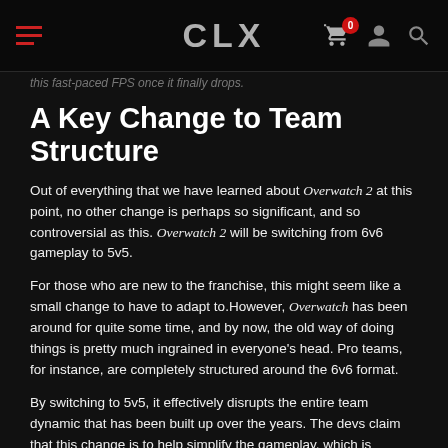this fast-paced FPS once it finally drops.
CLX
A Key Change to Team Structure
Out of everything that we have learned about Overwatch 2 at this point, no other change is perhaps so significant, and so controversial as this. Overwatch 2 will be switching from 6v6 gameplay to 5v5.
For those who are new to the franchise, this might seem like a small change to have to adapt to. However, Overwatch has been around for quite some time, and by now, the old way of doing things is pretty much ingrained in everyone's head. Pro teams, for instance, are completely structured around the 6v6 format.
By switching to 5v5, it effectively disrupts the entire team dynamic that has been built up over the years. The devs claim that this change is to help simplify the gameplay, which is understandable. One of the things Overwatch was notable for was the pandemonium of most matches. With such blazingly fast action